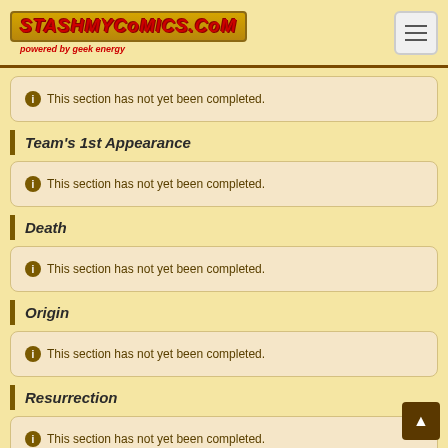StashMyComics.com - powered by geek energy
This section has not yet been completed.
Team's 1st Appearance
This section has not yet been completed.
Death
This section has not yet been completed.
Origin
This section has not yet been completed.
Resurrection
This section has not yet been completed.